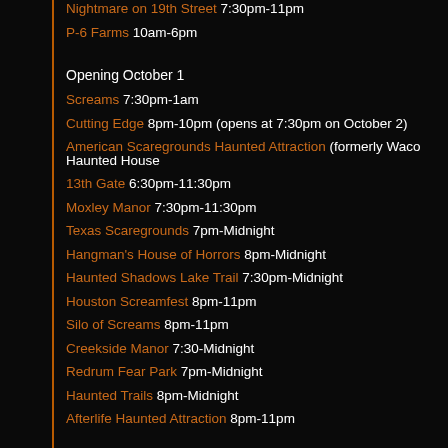Nightmare on 19th Street 7:30pm-11pm
P-6 Farms 10am-6pm
Opening October 1
Screams 7:30pm-1am
Cutting Edge 8pm-10pm (opens at 7:30pm on October 2)
American Scaregrounds Haunted Attraction (formerly Waco Haunted House
13th Gate 6:30pm-11:30pm
Moxley Manor 7:30pm-11:30pm
Texas Scaregrounds 7pm-Midnight
Hangman's House of Horrors 8pm-Midnight
Haunted Shadows Lake Trail 7:30pm-Midnight
Houston Screamfest 8pm-11pm
Silo of Screams 8pm-11pm
Creekside Manor 7:30-Midnight
Redrum Fear Park 7pm-Midnight
Haunted Trails 8pm-Midnight
Afterlife Haunted Attraction 8pm-11pm